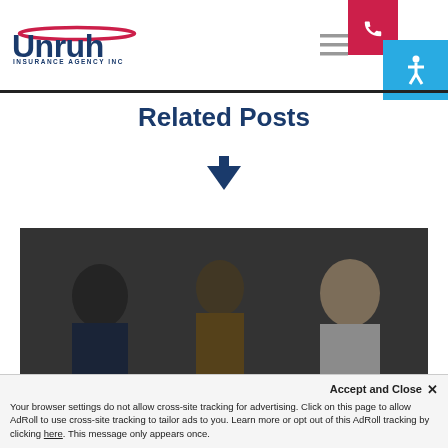[Figure (logo): Unruh Insurance Agency Inc logo with red swoosh and dark blue text]
Related Posts
[Figure (illustration): Down arrow icon in dark navy blue]
[Figure (photo): Three people sitting and talking in an office/casual setting, image with dark overlay]
Accept and Close ✕
Your browser settings do not allow cross-site tracking for advertising. Click on this page to allow AdRoll to use cross-site tracking to tailor ads to you. Learn more or opt out of this AdRoll tracking by clicking here. This message only appears once.